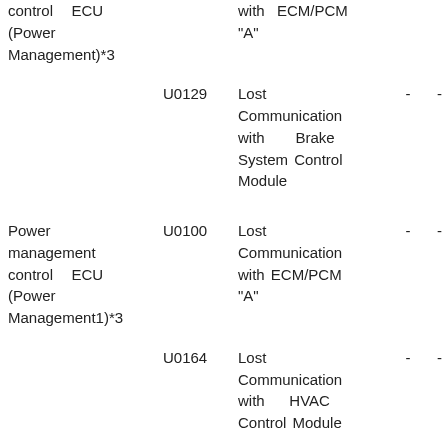| Component | DTC | Description | Col4 | Col5 |
| --- | --- | --- | --- | --- |
| control ECU (Power Management)*3 |  | with ECM/PCM "A" | - | - |
|  | U0129 | Lost Communication with Brake System Control Module | - | - |
| Power management control ECU (Power Management1)*3 | U0100 | Lost Communication with ECM/PCM "A" | - | - |
|  | U0164 | Lost Communication with HVAC Control Module | - | - |